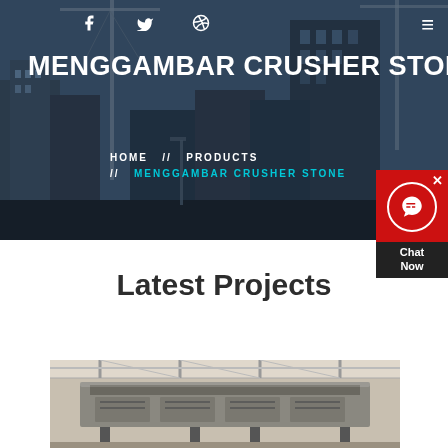[Figure (photo): Construction site hero background with cranes and buildings against a dark blue overlay]
f  🐦  ⊕  ≡
MENGGAMBAR CRUSHER STONE
HOME  //  PRODUCTS  //  MENGGAMBAR CRUSHER STONE
[Figure (other): Chat Now widget with red background, headset icon, and dark chat now label]
Latest Projects
[Figure (photo): Construction machinery / crusher stone equipment photo at bottom of page]